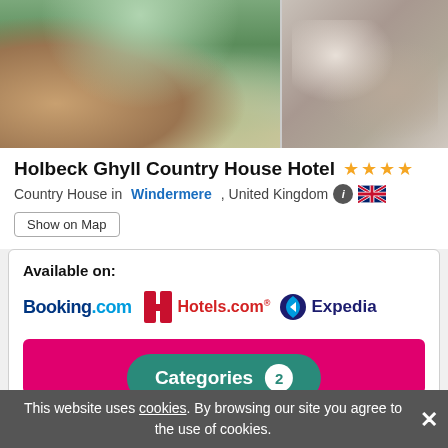[Figure (photo): Two hotel photos side by side: left shows exterior/garden with landscaping and mountains; right shows interior with sofa, cushions, and coffee table with books]
Holbeck Ghyll Country House Hotel ★★★★
Country House in Windermere , United Kingdom
Show on Map
Available on:
Booking.com  Hotels.com  Expedia
Check Availability
Dog Friendly Accommodation
Is there an extra charge?
Yes, £25 per nig…
Categories  2
This website uses cookies. By browsing our site you agree to the use of cookies.